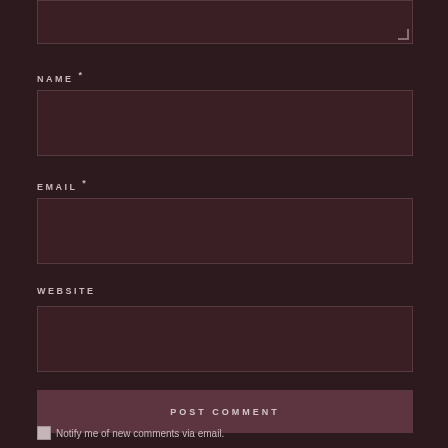[Figure (screenshot): Top portion of a textarea input field with a resize handle in the bottom-right corner, dark maroon background.]
NAME *
[Figure (screenshot): Empty text input field for NAME, dark maroon background with border.]
EMAIL *
[Figure (screenshot): Empty text input field for EMAIL, dark maroon background with border.]
WEBSITE
[Figure (screenshot): Empty text input field for WEBSITE, dark maroon background with border.]
POST COMMENT
Notify me of new comments via email.